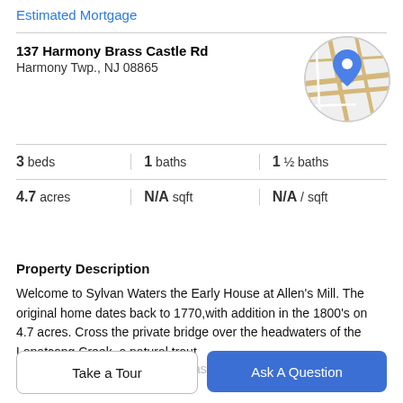Estimated Mortgage
137 Harmony Brass Castle Rd
Harmony Twp., NJ 08865
[Figure (map): Circular map thumbnail showing a location pin over a road map in Harmony, NJ]
3 beds | 1 baths | 1 ½ baths
4.7 acres | N/A sqft | N/A / sqft
Property Description
Welcome to Sylvan Waters the Early House at Allen's Mill. The original home dates back to 1770,with addition in the 1800's on 4.7 acres. Cross the private bridge over the headwaters of the Lopatcong Creek, a natural trout stream, and open level yard areas for picnic area, & now
Take a Tour
Ask A Question